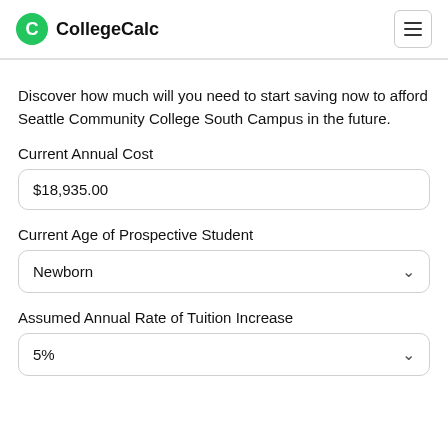CollegeCalc
Discover how much will you need to start saving now to afford Seattle Community College South Campus in the future.
Current Annual Cost
$18,935.00
Current Age of Prospective Student
Newborn
Assumed Annual Rate of Tuition Increase
5%